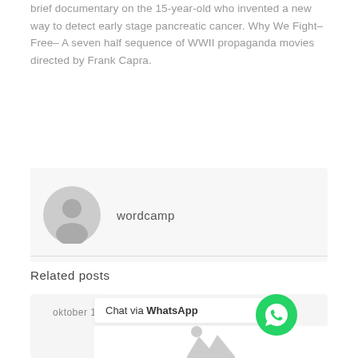brief documentary on the 15-year-old who invented a new way to detect early stage pancreatic cancer. Why We Fight–Free– A seven half sequence of WWII propaganda movies directed by Frank Capra.
wordcamp
Related posts
oktober 12, 2020
Chat via WhatsApp